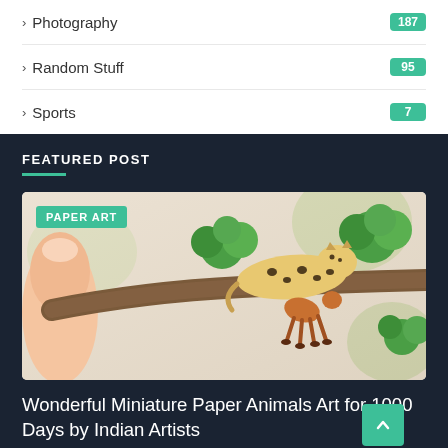> Photography 187
> Random Stuff 95
> Sports 7
FEATURED POST
[Figure (photo): A tiny paper art miniature of a leopard resting on a branch with an orange deer/antelope figurine below it, with green paper foliage, held by a human finger. Badge reads PAPER ART.]
Wonderful Miniature Paper Animals Art for 1000 Days by Indian Artists
January 19, 2022